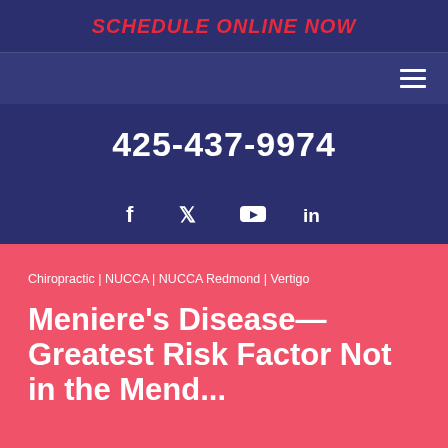SCHEDULE ONLINE NOW
425-437-9974
Social icons: Facebook, Twitter, YouTube, LinkedIn
Chiropractic | NUCCA | NUCCA Redmond | Vertigo
Meniere's Disease—Greatest Risk Factor Not in the Mendment